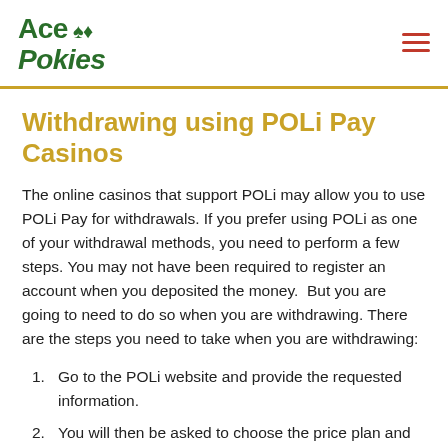Ace Pokies
Withdrawing using POLi Pay Casinos
The online casinos that support POLi may allow you to use POLi Pay for withdrawals. If you prefer using POLi as one of your withdrawal methods, you need to perform a few steps. You may not have been required to register an account when you deposited the money.  But you are going to need to do so when you are withdrawing. There are the steps you need to take when you are withdrawing:
Go to the POLi website and provide the requested information.
You will then be asked to choose the price plan and provide the information you are asked to